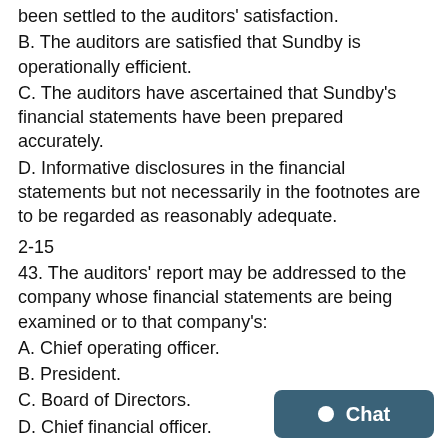been settled to the auditors' satisfaction.
B. The auditors are satisfied that Sundby is operationally efficient.
C. The auditors have ascertained that Sundby's financial statements have been prepared accurately.
D. Informative disclosures in the financial statements but not necessarily in the footnotes are to be regarded as reasonably adequate.
2-15
43. The auditors' report may be addressed to the company whose financial statements are being examined or to that company's:
A. Chief operating officer.
B. President.
C. Board of Directors.
D. Chief financial officer.